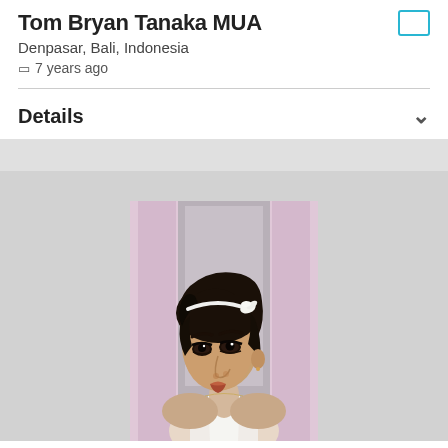Tom Bryan Tanaka MUA
Denpasar, Bali, Indonesia
7 years ago
Details
[Figure (photo): Portrait photograph of a woman with short dark hair, a white headband with feather, dramatic eye makeup, wearing a white halter-neck top, looking over her shoulder toward the camera. Background shows pink curtains and a light interior.]